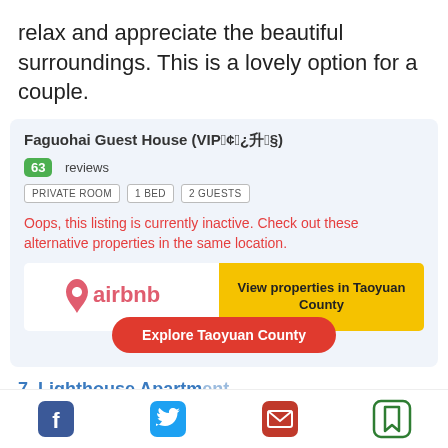relax and appreciate the beautiful surroundings. This is a lovely option for a couple.
Faguohai Guest House (VIP客房升级)
63 reviews
PRIVATE ROOM  1 BED  2 GUESTS
Oops, this listing is currently inactive. Check out these alternative properties in the same location.
[Figure (logo): Airbnb logo with text: airbnb]
View properties in Taoyuan County
Explore Taoyuan County
7. Lighthouse Apartment
[Figure (infographic): Social sharing icons: Facebook, Twitter, Email, Bookmark]